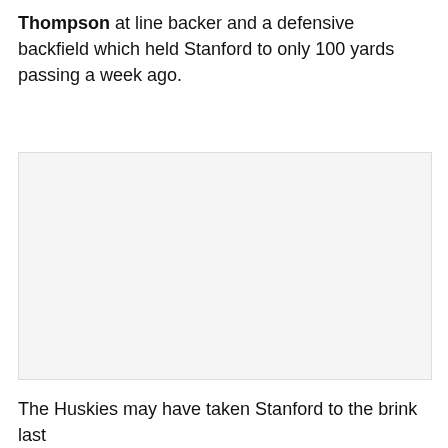Thompson at line backer and a defensive backfield which held Stanford to only 100 yards passing a week ago.
[Figure (photo): Empty/blank image placeholder area]
The Huskies may have taken Stanford to the brink last